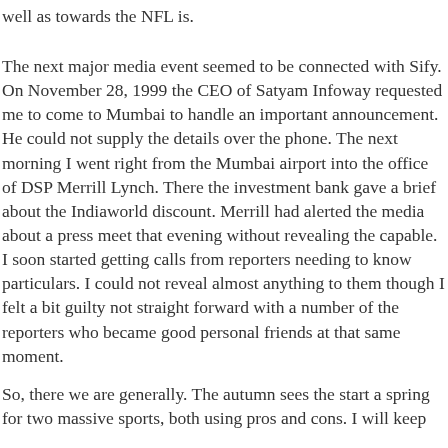well as towards the NFL is.
The next major media event seemed to be connected with Sify. On November 28, 1999 the CEO of Satyam Infoway requested me to come to Mumbai to handle an important announcement. He could not supply the details over the phone. The next morning I went right from the Mumbai airport into the office of DSP Merrill Lynch. There the investment bank gave a brief about the Indiaworld discount. Merrill had alerted the media about a press meet that evening without revealing the capable. I soon started getting calls from reporters needing to know particulars. I could not reveal almost anything to them though I felt a bit guilty not straight forward with a number of the reporters who became good personal friends at that same moment.
So, there we are generally. The autumn sees the start a spring for two massive sports, both using pros and cons. I will keep